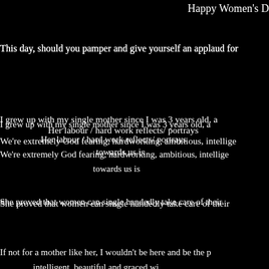Happy Women's D
This day, should you pamper and give yourself an applaud for
I grew up with my single mother since I was 3 years old, a
Her labour / hard work reflects/ portrays
We're extremely God fearing, hardworking, ambitious, intellige
towards us is
She proved that women can single handedly take care of their
If not for a mother like her, I wouldn't be here and be the p
intelligent, beautiful and graced wi
Happy women's day to all